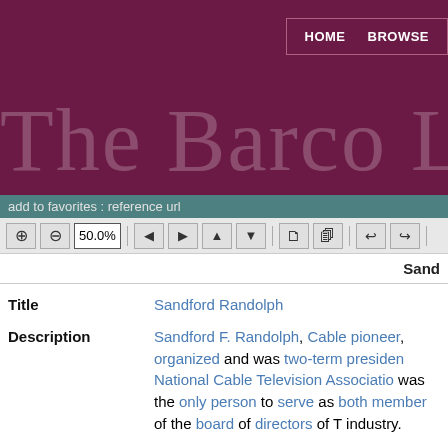HOME   BROWSE
The Barco Lib
add to favorites : reference url
[Figure (screenshot): PDF viewer toolbar with zoom controls at 50.0%, navigation arrows, page icons, and rotation buttons]
Sand
| Field | Value |
| --- | --- |
| Title | Sandford Randolph |
| Description | Sandford F. Randolph, Cable pioneer, organized and was two-term president National Cable Television Association, was the only person to serve as both member of the board of directors of T industry. |
| Date original | 1960s |